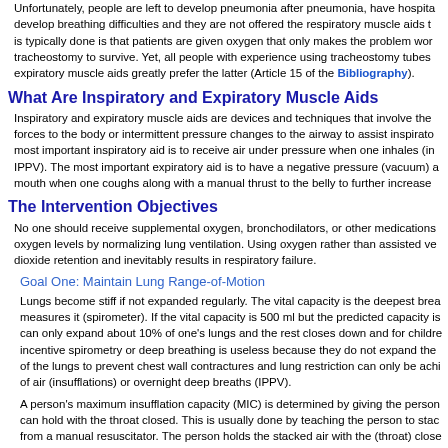Unfortunately, people are left to develop pneumonia after pneumonia, have hospital... develop breathing difficulties and they are not offered the respiratory muscle aids t... is typically done is that patients are given oxygen that only makes the problem wor... tracheostomy to survive. Yet, all people with experience using tracheostomy tubes expiratory muscle aids greatly prefer the latter (Article 15 of the Bibliography).
What Are Inspiratory and Expiratory Muscle Aids
Inspiratory and expiratory muscle aids are devices and techniques that involve the forces to the body or intermittent pressure changes to the airway to assist inspirato... most important inspiratory aid is to receive air under pressure when one inhales (in... IPPV). The most important expiratory aid is to have a negative pressure (vacuum) a mouth when one coughs along with a manual thrust to the belly to further increase
The Intervention Objectives
No one should receive supplemental oxygen, bronchodilators, or other medications... oxygen levels by normalizing lung ventilation. Using oxygen rather than assisted ve... dioxide retention and inevitably results in respiratory failure.
Goal One: Maintain Lung Range-of-Motion
Lungs become stiff if not expanded regularly. The vital capacity is the deepest brea... measures it (spirometer). If the vital capacity is 500 ml but the predicted capacity is can only expand about 10% of one's lungs and the rest closes down and for childre incentive spirometry or deep breathing is useless because they do not expand the of the lungs to prevent chest wall contractures and lung restriction can only be achi of air (insufflations) or overnight deep breaths (IPPV).
A person's maximum insufflation capacity (MIC) is determined by giving the person can hold with the throat closed. This is usually done by teaching the person to stac from a manual resuscitator. The person holds the stacked air with the (throat) close Patients who learn glossopharyngeal (frog) breathing can often air stack to the MIC
The primary objectives in using air stacking or in providing maximum insufflations a are to: increase the MIC, to maximize cough flows, to maintain or improve lung elas and to master noninvasive ventilation (noninvasive IPPV). The ability to air stack m ventilation and assisted coughing to prevent pneumonia, respiratory failure, or ever stacking can also increase voice volume, facilitate eating, and promote lung growth
Since anyone who can air stack is also able to use noninvasive IPPV, if such a pat